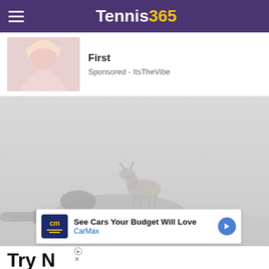Tennis365
First
Sponsored - ItsTheVibe
[Figure (photo): A photographer lying in a field with a deer/fawn standing on his back, shot in muted grey tones]
[Figure (other): CarMax advertisement: See Cars Your Budget Will Love - CarMax with blue arrow icon]
Try N